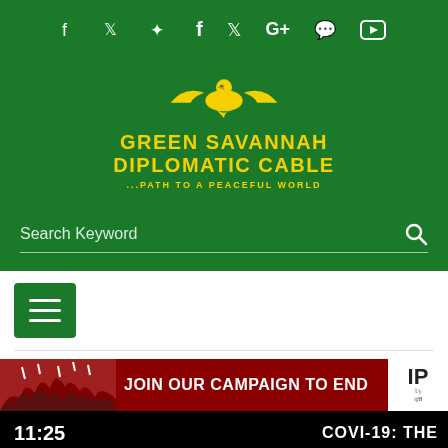[Figure (logo): Green Savannah Diplomatic Cable website header with green background, social media icons (f, Twitter, G+, WhatsApp, YouTube), eagle logo in yellow, and text 'GREEN SAVANNAH DIPLOMATIC CABLE ...PATH TO A PEACEFUL WORLD']
Search Keyword
[Figure (other): Hamburger menu button (three horizontal lines) on white background followed by horizontal divider]
[Figure (photo): Campaign banner: red background with crowd photo on left, text 'JOIN OUR CAMPAIGN TO END' in white bold uppercase, and IP logo on right]
COVI-19: THE
11:25